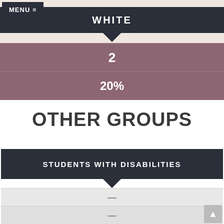MENU ≡
WHITE
2
20%
OTHER GROUPS
STUDENTS WITH DISABILITIES
—
—